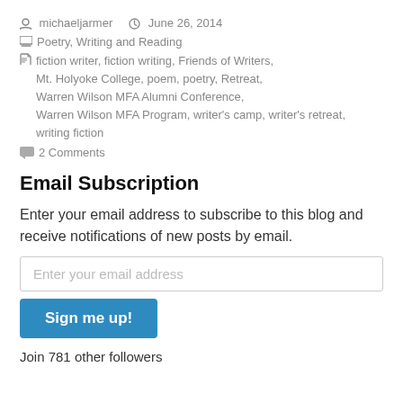michaeljarmer   June 26, 2014
Poetry, Writing and Reading
fiction writer, fiction writing, Friends of Writers, Mt. Holyoke College, poem, poetry, Retreat, Warren Wilson MFA Alumni Conference, Warren Wilson MFA Program, writer's camp, writer's retreat, writing fiction
2 Comments
Email Subscription
Enter your email address to subscribe to this blog and receive notifications of new posts by email.
Enter your email address
Sign me up!
Join 781 other followers